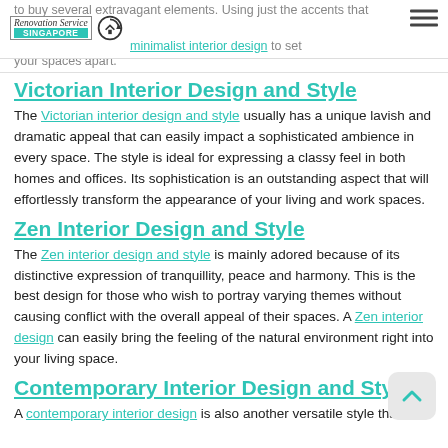to buy several extravagant elements. Using just the accents that you create the best minimalist interior design to set your spaces apart.
Victorian Interior Design and Style
The Victorian interior design and style usually has a unique lavish and dramatic appeal that can easily impact a sophisticated ambience in every space. The style is ideal for expressing a classy feel in both homes and offices. Its sophistication is an outstanding aspect that will effortlessly transform the appearance of your living and work spaces.
Zen Interior Design and Style
The Zen interior design and style is mainly adored because of its distinctive expression of tranquillity, peace and harmony. This is the best design for those who wish to portray varying themes without causing conflict with the overall appeal of their spaces. A Zen interior design can easily bring the feeling of the natural environment right into your living space.
Contemporary Interior Design and Style
A contemporary interior design is also another versatile style that can